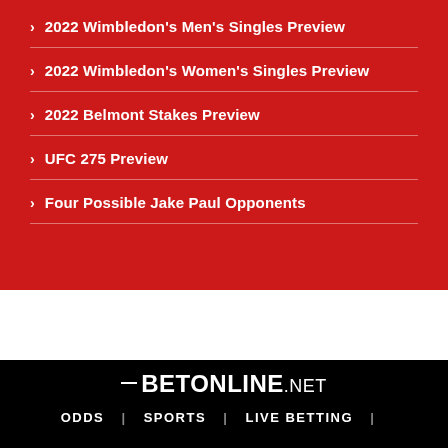2022 Wimbledon's Men's Singles Preview
2022 Wimbledon's Women's Singles Preview
2022 Belmont Stakes Preview
UFC 275 Preview
Four Possible Jake Paul Opponents
[Figure (logo): BetOnline.net logo in white on black background]
ODDS | SPORTS | LIVE BETTING |